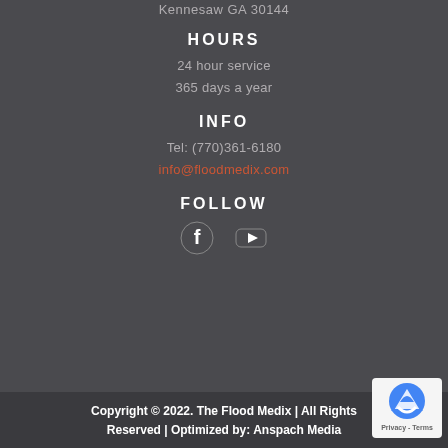Kennesaw GA 30144
HOURS
24 hour service
365 days a year
INFO
Tel: (770)361-6180
info@floodmedix.com
FOLLOW
[Figure (illustration): Facebook and YouTube social media icons in white]
Copyright © 2022. The Flood Medix | All Rights Reserved | Optimized by: Anspach Media